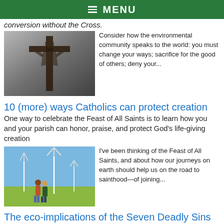≡ MENU
conversion without the Cross.
[Figure (photo): Black and white photo of a crucifix, Jesus on the cross viewed from below]
Consider how the environmental community speaks to the world: you must change your ways; sacrifice for the good of others; deny your...
10 (more) ways Catholics can protect creation
One way to celebrate the Feast of All Saints is to learn how you and your parish can honor, praise, and protect God's life-giving creation
[Figure (photo): Two people standing in a field with wind turbines in the background under a blue sky]
I've been thinking of the Feast of All Saints, and about how our journeys on earth should help us on the road to sainthood—of joining...
The eco-implications of the Seven Deadly Sins
A talk by Bishop Robert Barron provides a primer for Catholic ecologists on what's at the root of our ecological and social ills
[Figure (photo): Road signs pointing in different directions with words GREED visible, sky background]
One of my fellow RCIA instructors used a video today by Bishop